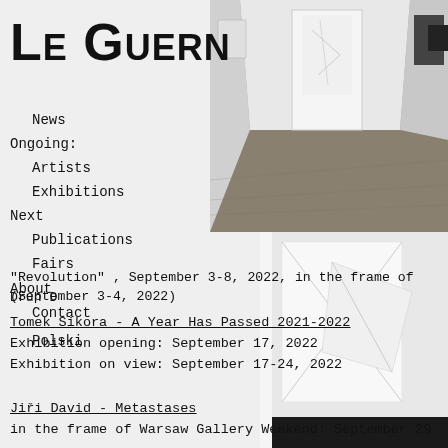Le Guern
News
Ongoing:
Artists
Exhibitions
Next
Publications
Fairs
About
Contact
Polski
[Figure (photo): Gallery interior with white walls, wooden floor, artworks]
"Revolution" , September 3-8, 2022, in the frame of Druh D
(September 3-4, 2022)
[Figure (photo): Abstract geometric white panel artwork detail]
Tomek Sikora - A Year Has Passed 2021-2022
Exhibition opening: September 17, 2022
Exhibition on view: September 17-24, 2022
Jiři David - Metastases
in the frame of Warsaw Gallery Weekend: September 29 - October 2, 2022
Exhibition on view: September 29 - November 15, 2022